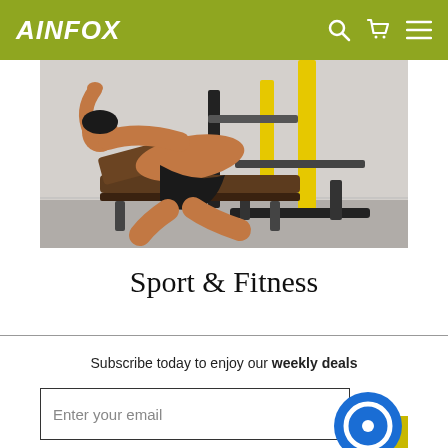AINFOX
[Figure (photo): A shirtless athletic man lying on a weight bench performing an exercise with a black and yellow squat rack / barbell stand in the background, gym setting.]
Sport & Fitness
Subscribe today to enjoy our weekly deals
Enter your email